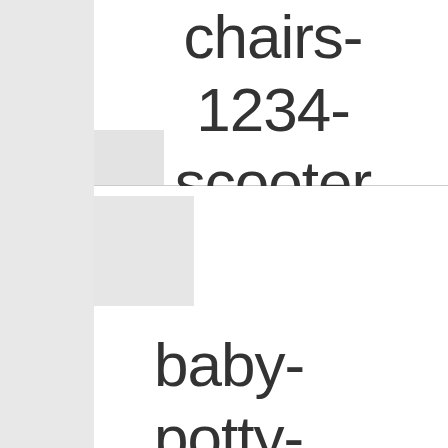chairs-1234-scooter
[Figure (photo): Thumbnail image placeholder top]
[Figure (photo): Thumbnail image placeholder bottom]
baby-potty-trainer-and-baby-chairs-1234-